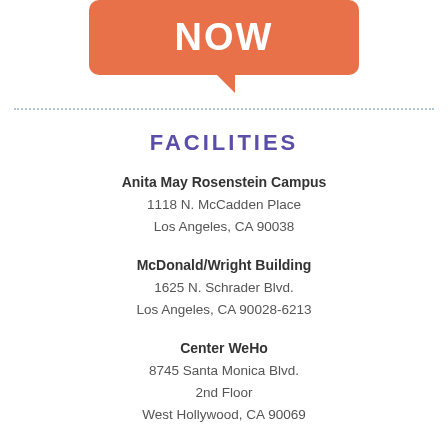[Figure (illustration): Orange speech bubble with white bold text 'NOW' and a tail pointing down-left]
FACILITIES
Anita May Rosenstein Campus
1118 N. McCadden Place
Los Angeles, CA 90038
McDonald/Wright Building
1625 N. Schrader Blvd.
Los Angeles, CA 90028-6213
Center WeHo
8745 Santa Monica Blvd.
2nd Floor
West Hollywood, CA 90069